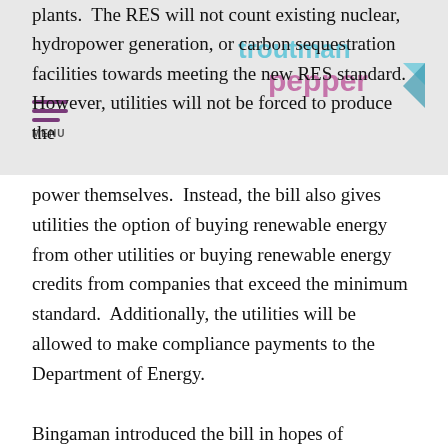plants.  The RES will not count existing nuclear, hydropower generation, or carbon sequestration facilities towards meeting the new RES standard.  However, utilities will not be forced to produce the power themselves.  Instead, the bill also gives utilities the option of buying renewable energy from other utilities or buying renewable energy credits from companies that exceed the minimum standard.  Additionally, the utilities will be allowed to make compliance payments to the Department of Energy.
Bingaman introduced the bill in hopes of garnering enough support to pass the bill without amendments.  The stand alone bill is very similar to last year's RES provision in S. 1462 that passed through the Senate Energy Committee, and this bill